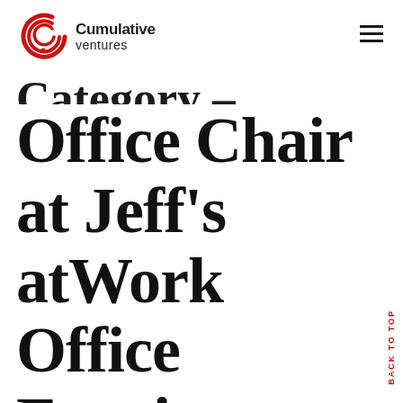[Figure (logo): Cumulative Ventures logo with concentric arcs in red and company name text]
Office Chair at Jeff's atWork Office Furniture